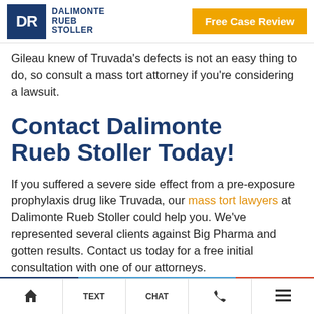[Figure (logo): Dalimonte Rueb Stoller law firm logo with DR monogram in blue box]
Gileau knew of Truvada's defects is not an easy thing to do, so consult a mass tort attorney if you're considering a lawsuit.
Contact Dalimonte Rueb Stoller Today!
If you suffered a severe side effect from a pre-exposure prophylaxis drug like Truvada, our mass tort lawyers at Dalimonte Rueb Stoller could help you. We've represented several clients against Big Pharma and gotten results. Contact us today for a free initial consultation with one of our attorneys.
Home | TEXT | CHAT | Phone | Menu